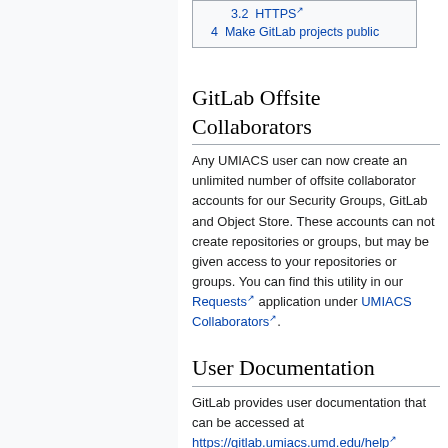3.2 HTTPS
4 Make GitLab projects public
GitLab Offsite Collaborators
Any UMIACS user can now create an unlimited number of offsite collaborator accounts for our Security Groups, GitLab and Object Store. These accounts can not create repositories or groups, but may be given access to your repositories or groups. You can find this utility in our Requests application under UMIACS Collaborators.
User Documentation
GitLab provides user documentation that can be accessed at https://gitlab.umiacs.umd.edu/help